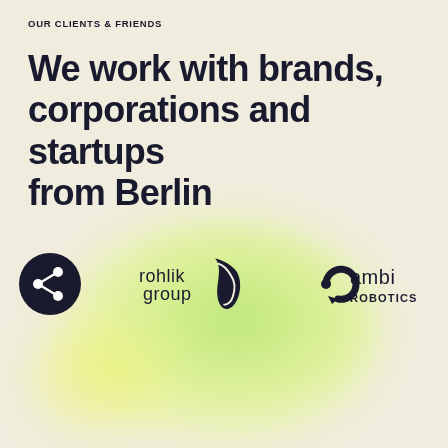OUR CLIENTS & FRIENDS
We work with brands, corporations and startups from Berlin
[Figure (logo): Three company logos: a circular network/share icon (black circle with white connection dots), Rohlik Group logo (text 'rohlik group' with a croissant icon), and Ambi Robotics logo (circular arrow icon with text 'ambi ROBOTICS')]
TESTIMONIALS